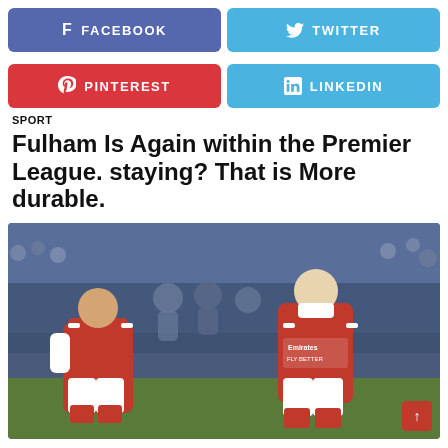[Figure (infographic): Social media share buttons: Facebook (purple), Twitter (blue), Pinterest (red), LinkedIn (blue)]
SPORT
Fulham Is Again within the Premier League. staying? That is More durable.
[Figure (photo): Two Arsenal football players in red and white kits on a football pitch, appearing dejected. A crowd is visible in the background.]